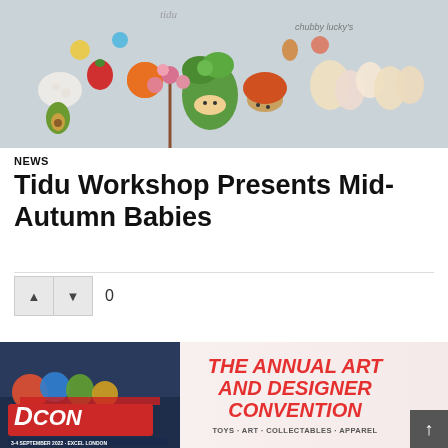[Figure (photo): Colorful clay/resin miniature figurines of cute anthropomorphic fruits, vegetables, and creatures arranged on a light grey background. Text 'chubby lucky' visible in top right corner.]
NEWS
Tidu Workshop Presents Mid-Autumn Babies
[Figure (infographic): Vote up and vote down buttons (dark grey triangles) with score of 0 displayed next to them.]
[Figure (infographic): DCon (Designer Convention) advertisement banner. Left side shows DCON logo with cartoon characters on dark blue background, date 3-4 September 2022 - Excel London. Right side on pink/cream background reads THE ANNUAL ART AND DESIGNER CONVENTION, TOYS - ART - COLLECTABLES - APPAREL in red bold italic text.]